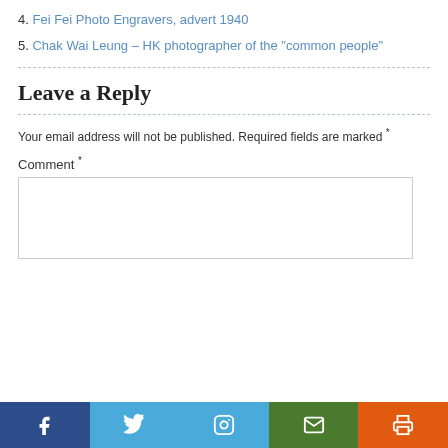4. Fei Fei Photo Engravers, advert 1940
5. Chak Wai Leung – HK photographer of the "common people"
Leave a Reply
Your email address will not be published. Required fields are marked *
Comment *